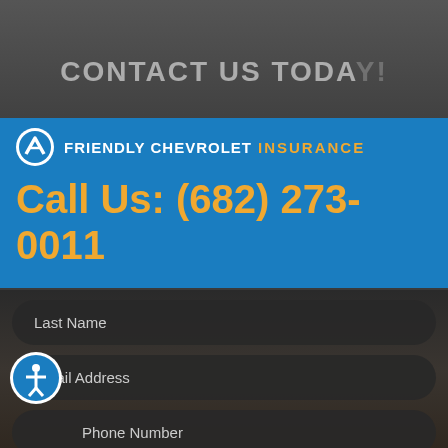CONTACT US TODAY!
[Figure (logo): Friendly Chevrolet Insurance logo with Chevrolet bowtie icon and company name]
Call Us: (682) 273-0011
Last Name
Email Address
Phone Number
Comments